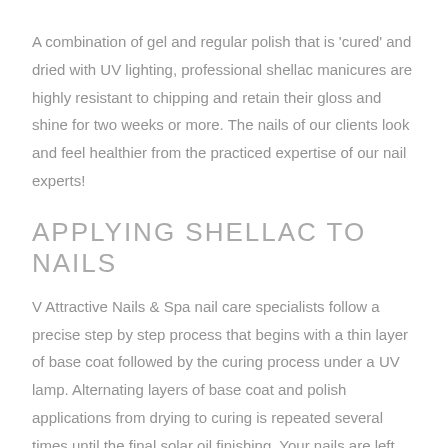A combination of gel and regular polish that is 'cured' and dried with UV lighting, professional shellac manicures are highly resistant to chipping and retain their gloss and shine for two weeks or more. The nails of our clients look and feel healthier from the practiced expertise of our nail experts!
APPLYING SHELLAC TO NAILS
V Attractive Nails & Spa nail care specialists follow a precise step by step process that begins with a thin layer of base coat followed by the curing process under a UV lamp. Alternating layers of base coat and polish applications from drying to curing is repeated several times until the final solar oil finishing. Your nails are left looking smooth, shiny and seamlessly superb.